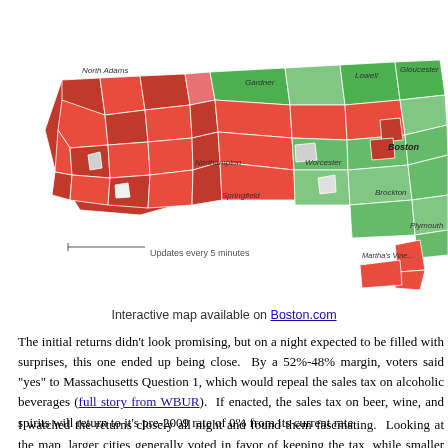[Figure (map): Choropleth map of Massachusetts showing town-by-town results of a ballot question on repealing the sales tax on alcoholic beverages. Towns voting yes are shown in green, towns voting no are shown in red/dark red, and some towns are shown in gray (no data). City labels include North Adams, Lowell, Gloucester, Gardner, Northampton, Worcester, Springfield, Boston, Brockton, Plymouth, and Martha's Vineyard.]
Updates every 5 minutes
Interactive map available on Boston.com
The initial returns didn't look promising, but on a night expected to be filled with surprises, this one ended up being close. By a 52%-48% margin, voters said "yes" to Massachusetts Question 1, which would repeal the sales tax on alcoholic beverages (full story from WBUR). If enacted, the sales tax on beer, wine, and spirits will return to it's pre-2009 rate of 0% from its current rate
I watched the returns closely all night and found them fascinating. Looking at the map, larger cities generally voted in favor of keeping the tax, while smaller towns voted to repeal it.